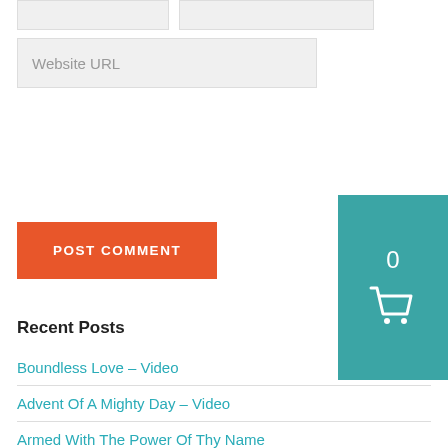[Figure (screenshot): Two small input boxes partially visible at top of page]
Website URL
[Figure (screenshot): POST COMMENT button (orange) and shopping cart widget (teal) with 0 count]
Recent Posts
Boundless Love – Video
Advent Of A Mighty Day – Video
Armed With The Power Of Thy Name